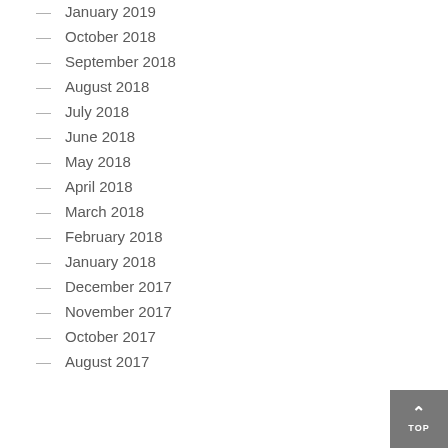January 2019
October 2018
September 2018
August 2018
July 2018
June 2018
May 2018
April 2018
March 2018
February 2018
January 2018
December 2017
November 2017
October 2017
August 2017